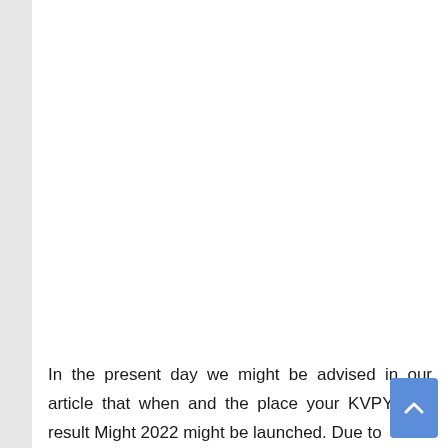In the present day we might be advised in our article that when and the place your KVPY End result Might 2022 might be launched. Due to